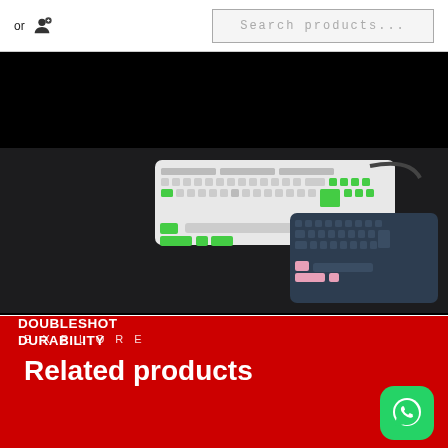or [user icon]  Search products...
[Figure (photo): Marketing banner showing two mechanical keyboards with colorful keycaps (green and white keyboard, black and pink keyboard) on a dark background. Text reads DOUBLESHOT DURABILITY in white bold uppercase.]
EXPLORE
Related products
[Figure (logo): WhatsApp logo button — green rounded square with white WhatsApp telephone icon]